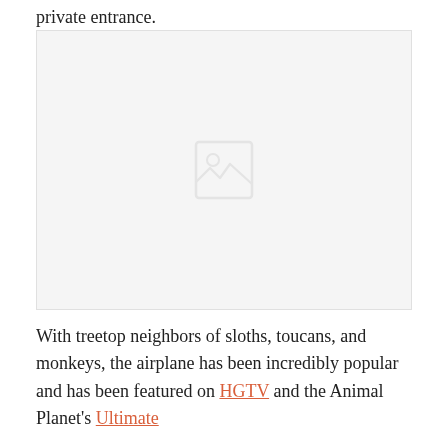private entrance.
[Figure (photo): A placeholder image area, light gray background with a faint image icon in the center.]
With treetop neighbors of sloths, toucans, and monkeys, the airplane has been incredibly popular and has been featured on HGTV and the Animal Planet's Ultimate